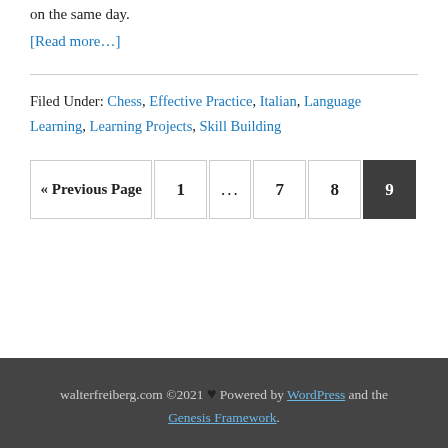on the same day.
[Read more…]
Filed Under: Chess, Effective Practice, Italian, Language Learning, Learning Projects, Skill Building
« Previous Page
1
...
7
8
9
walterfreiberg.com ©2021 ❤ Powered by WordPress and the Genesis Framework.